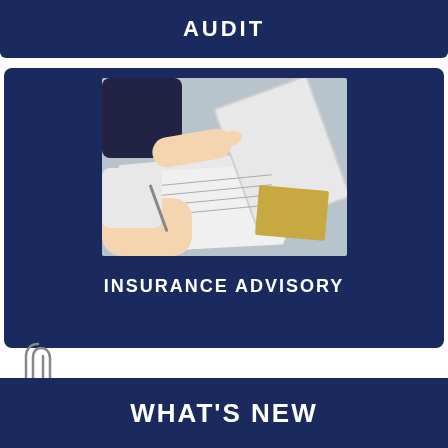AUDIT
[Figure (photo): Two people reviewing documents at a desk; one pointing at a document, the other writing with a pen. Financial charts and papers visible on the desk.]
INSURANCE ADVISORY
WHAT'S NEW